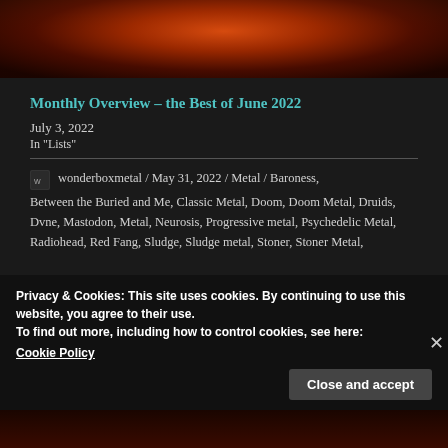[Figure (photo): Dark reddish-orange nebula or fire-like image at the top of the page]
Monthly Overview – the Best of June 2022
July 3, 2022
In "Lists"
wonderboxmetal / May 31, 2022 / Metal / Baroness, Between the Buried and Me, Classic Metal, Doom, Doom Metal, Druids, Dvne, Mastodon, Metal, Neurosis, Progressive metal, Psychedelic Metal, Radiohead, Red Fang, Sludge, Sludge metal, Stoner, Stoner Metal,
Privacy & Cookies: This site uses cookies. By continuing to use this website, you agree to their use.
To find out more, including how to control cookies, see here:
Cookie Policy
Close and accept